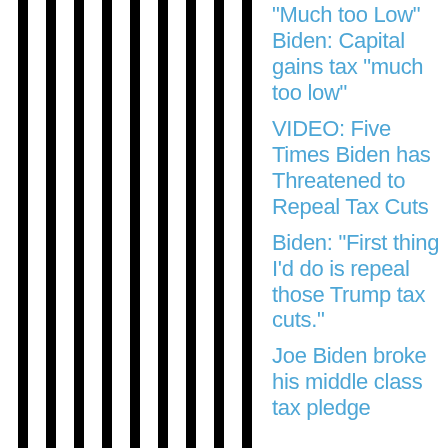[Figure (illustration): Vertical black and white stripes pattern occupying the left portion of the page]
“Much too Low” Biden: Capital gains tax “much too low”
VIDEO: Five Times Biden has Threatened to Repeal Tax Cuts
Biden: “First thing I’d do is repeal those Trump tax cuts.”
Joe Biden broke his middle class tax pledge